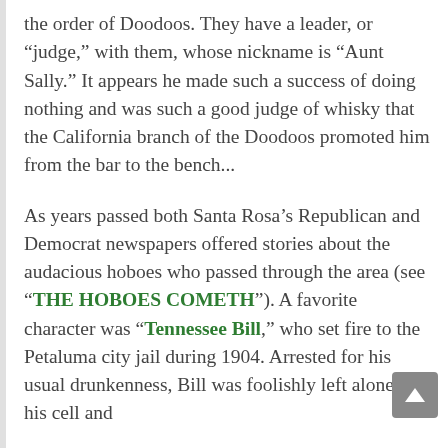the order of Doodoos. They have a leader, or “judge,” with them, whose nickname is “Aunt Sally.” It appears he made such a success of doing nothing and was such a good judge of whisky that the California branch of the Doodoos promoted him from the bar to the bench...
As years passed both Santa Rosa’s Republican and Democrat newspapers offered stories about the audacious hoboes who passed through the area (see “THE HOBOES COMETH”). A favorite character was “Tennessee Bill,” who set fire to the Petaluma city jail during 1904. Arrested for his usual drunkenness, Bill was foolishly left alone in his cell and